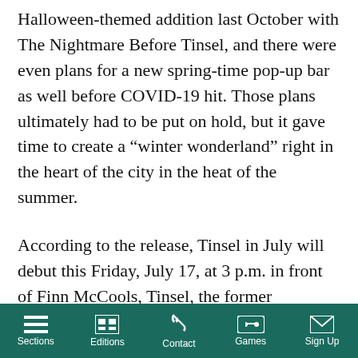Halloween-themed addition last October with The Nightmare Before Tinsel, and there were even plans for a new spring-time pop-up bar as well before COVID-19 hit. Those plans ultimately had to be put on hold, but it gave time to create a “winter wonderland” right in the heart of the city in the heat of the summer.
According to the release, Tinsel in July will debut this Friday, July 17, at 3 p.m. in front of Finn McCools, Tinsel, the former Midtown and Penn Six and Go Popcorn with socially-distanced cafe seating, frozen and ice cold Christmas cocktails, boozy Grinch pops, a brand new eatery, holiday decor and festive tunes. Patrons can enjoy food and drinks while surrounded by thousands of twinkling
Sections | Editions | Contact | Games | Sign Up